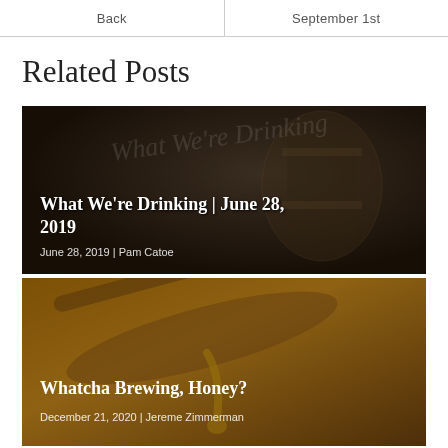Back | September 1st
Related Posts
[Figure (photo): Dark moody photo of a glass beer mug/barrel in a brewery setting with text 'What We're Drinking' overlaid in white serif font]
What We're Drinking | June 28, 2019
June 28, 2019 | Pam Catoe
[Figure (photo): Close-up photo of honey dripping from a wooden spoon with warm amber tones]
Whatcha Brewing, Honey?
December 21, 2020 | Jereme Zimmerman
[Figure (photo): Photo of industrial brewery building exterior with silos/tanks under blue sky]
Breweries Continue to Honor Earth Day with Sustainability Initiatives